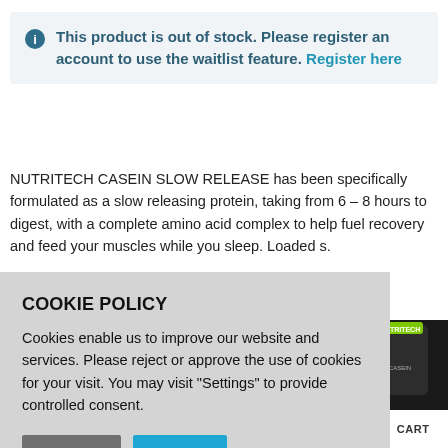This product is out of stock. Please register an account to use the waitlist feature. Register here
NUTRITECH CASEIN SLOW RELEASE has been specifically formulated as a slow releasing protein, taking from 6 – 8 hours to digest, with a complete amino acid complex to help fuel recovery and feed your muscles while you sleep. Loaded s.
COOKIE POLICY
Cookies enable us to improve our website and services. Please reject or approve the use of cookies for your visit. You may visit "Settings" to provide controlled consent.
Settings | Accept | Reject
HOME   WISHLIST   ACCOUNT   CART